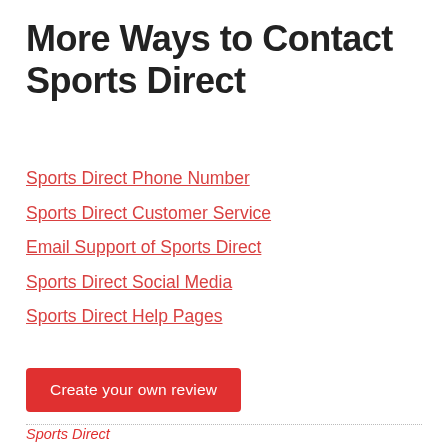More Ways to Contact Sports Direct
Sports Direct Phone Number
Sports Direct Customer Service
Email Support of Sports Direct
Sports Direct Social Media
Sports Direct Help Pages
Create your own review
Sports Direct